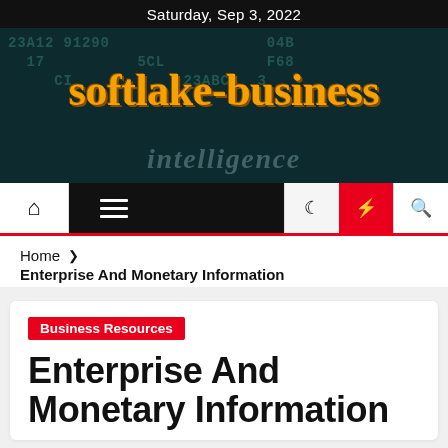Saturday, Sep 3, 2022
[Figure (logo): softlake-business website logo on dark digital background with teal matrix-style numbers and 'intelligence' text watermark]
[Figure (infographic): Navigation bar with home icon, hamburger menu, dark spacer, moon icon, lightning bolt icon on red background, search icon]
Home > Enterprise And Monetary Information
Enterprise And Monetary Information
Business Resources
Enterprise And Monetary Information